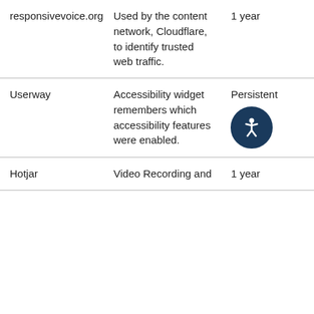| responsivevoice.org | Used by the content network, Cloudflare, to identify trusted web traffic. | 1 year |
| Userway | Accessibility widget remembers which accessibility features were enabled. | Persistent |
| Hotjar | Video Recording and | 1 year |